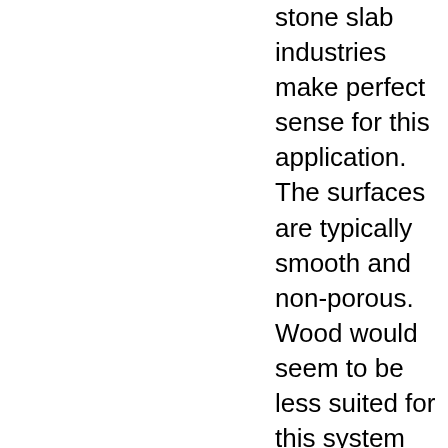stone slab industries make perfect sense for this application. The surfaces are typically smooth and non-porous. Wood would seem to be less suited for this system because of the grain and the porosity.
Logged
afish
Posts: 1381
Re: NEW: VCS-R vacuum